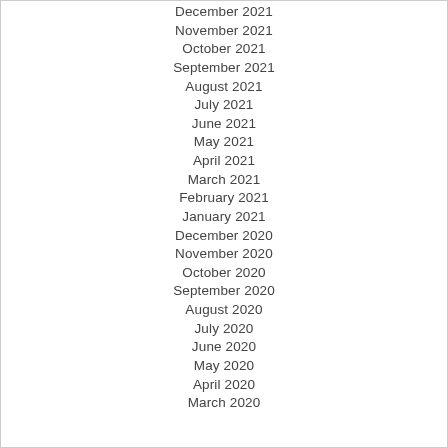December 2021
November 2021
October 2021
September 2021
August 2021
July 2021
June 2021
May 2021
April 2021
March 2021
February 2021
January 2021
December 2020
November 2020
October 2020
September 2020
August 2020
July 2020
June 2020
May 2020
April 2020
March 2020